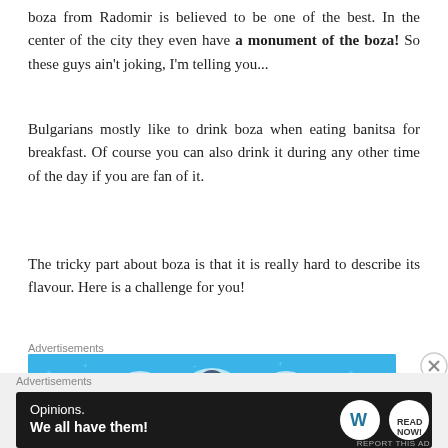boza from Radomir is believed to be one of the best. In the center of the city they even have a monument of the boza! So these guys ain't joking, I'm telling you...
Bulgarians mostly like to drink boza when eating banitsa for breakfast. Of course you can also drink it during any other time of the day if you are fan of it.
The tricky part about boza is that it is really hard to describe its flavour. Here is a challenge for you!
Advertisements
[Figure (illustration): Blue background advertisement banner showing an illustrated person with a notebook and a list document on either side]
Advertisements
[Figure (illustration): Dark advertisement banner reading 'Opinions. We all have them!' with WordPress and another logo on the right]